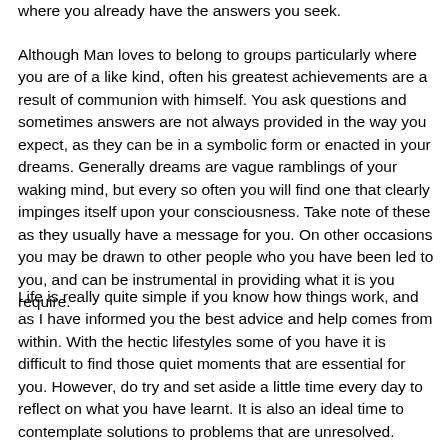where you already have the answers you seek.
Although Man loves to belong to groups particularly where you are of a like kind, often his greatest achievements are a result of communion with himself. You ask questions and sometimes answers are not always provided in the way you expect, as they can be in a symbolic form or enacted in your dreams. Generally dreams are vague ramblings of your waking mind, but every so often you will find one that clearly impinges itself upon your consciousness. Take note of these as they usually have a message for you. On other occasions you may be drawn to other people who you have been led to you, and can be instrumental in providing what it is you require.
Life is really quite simple if you know how things work, and as I have informed you the best advice and help comes from within. With the hectic lifestyles some of you have it is difficult to find those quiet moments that are essential for you. However, do try and set aside a little time every day to reflect on what you have learnt. It is also an ideal time to contemplate solutions to problems that are unresolved. When you are releasing the hundred and one thoughts that keep passing through your minds you can center on Self, and guidance can more easily come through.